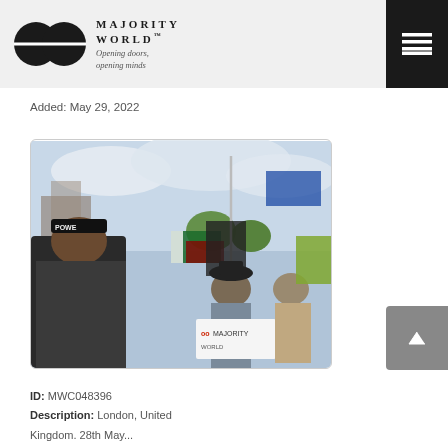MAJORITY WORLD™ — Opening doors, opening minds
Added: May 29, 2022
[Figure (photo): Outdoor protest or demonstration scene. A man in the foreground wears a headband reading 'POWER'. Multiple flags including Sri Lankan, Pakistani, and others are visible. A crowd of demonstrators is in the background with a cloudy sky and city buildings.]
ID: MWC048396
Description: London, United Kingdom. 28th May...
Photographer: Saiful Islam